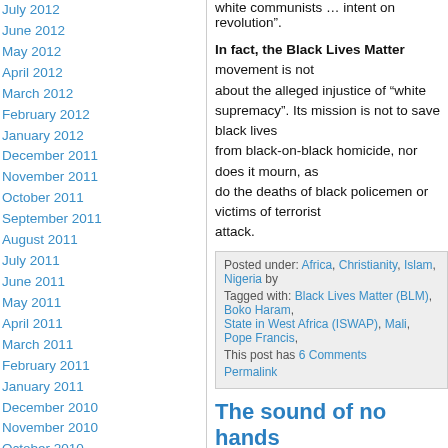July 2012
June 2012
May 2012
April 2012
March 2012
February 2012
January 2012
December 2011
November 2011
October 2011
September 2011
August 2011
July 2011
June 2011
May 2011
April 2011
March 2011
February 2011
January 2011
December 2010
November 2010
October 2010
September 2010
August 2010
July 2010
June 2010
May 2010
April 2010
March 2010
February 2010
January 2010
December 2009
white communists ... intent on revolution".
In fact, the Black Lives Matter movement is not about the alleged injustice of "white supremacy". Its mission is not to save black lives from black-on-black homicide, nor does it mourn, as do the deaths of black policemen or victims of terrorist attack.
Posted under: Africa, Christianity, Islam, Nigeria by...
Tagged with: Black Lives Matter (BLM), Boko Haram, Islamic State in West Africa (ISWAP), Mali, Pope Francis, ...
This post has 6 Comments
Permalink
The sound of no hands
Welfare state socialism is justified by the existence of people in every nation who cannot support themselves; the state must do it; the entire economy must be under its direction and control.
To ask how many such people there...